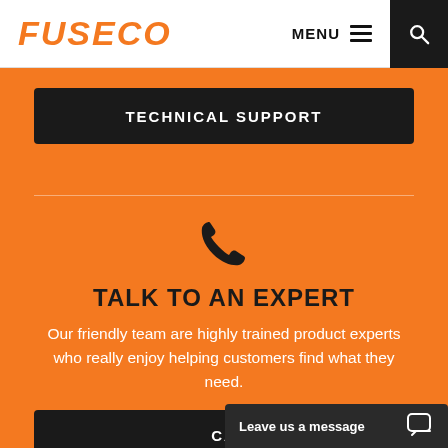[Figure (logo): FUSECO logo in orange italic bold text]
MENU  🔍
TECHNICAL SUPPORT
TALK TO AN EXPERT
Our friendly team are highly trained product experts who really enjoy helping customers find what they need.
CA
Leave us a message